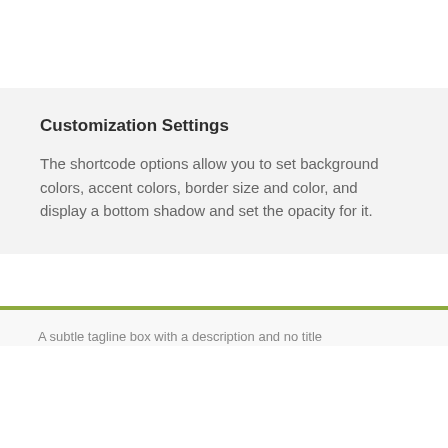Customization Settings
The shortcode options allow you to set background colors, accent colors, border size and color, and display a bottom shadow and set the opacity for it.
A subtle tagline box with a description and no title